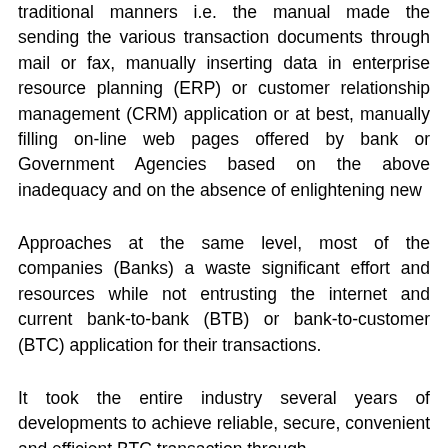traditional manners i.e. the manual made the sending the various transaction documents through mail or fax, manually inserting data in enterprise resource planning (ERP) or customer relationship management (CRM) application or at best, manually filling on-line web pages offered by bank or Government Agencies based on the above inadequacy and on the absence of enlightening new
Approaches at the same level, most of the companies (Banks) a waste significant effort and resources while not entrusting the internet and current bank-to-bank (BTB) or bank-to-customer (BTC) application for their transactions.
It took the entire industry several years of developments to achieve reliable, secure, convenient and efficient BTC transaction through